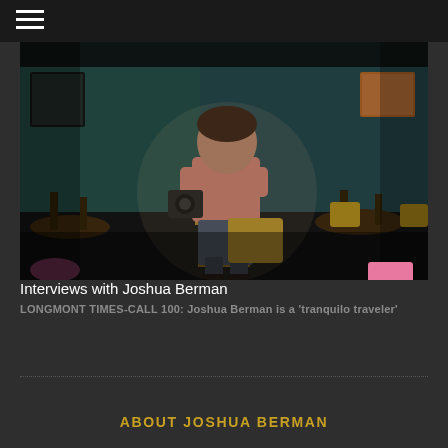Navigation bar with hamburger menu
[Figure (photo): A man in a pink/salmon shirt sitting on a stool in what appears to be a classroom or cafe, holding a camera. The room has teal/green walls, wooden chairs, and artwork on the walls. Dark dramatic lighting.]
Interviews with Joshua Berman
LONGMONT TIMES-CALL 100: Joshua Berman is a 'tranquilo traveler'
ABOUT JOSHUA BERMAN